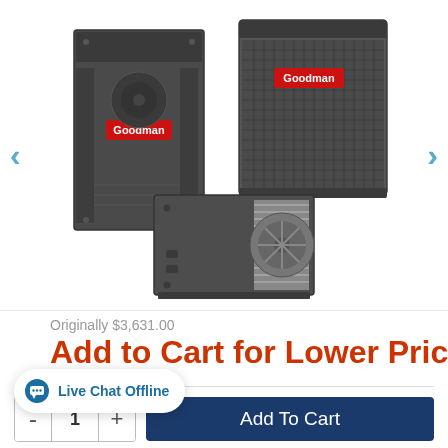[Figure (photo): Goodman HVAC system product bundle showing two Goodman-branded units — a vertical air handler on the left, an outdoor condenser unit on the upper right, and a horizontal evaporator coil unit in the foreground center. Carousel navigation arrows (< and >) visible on left and right sides.]
Originally $3,631.00
Add to Cart for Lower Price
Live Chat Offline
- 1 + Add To Cart